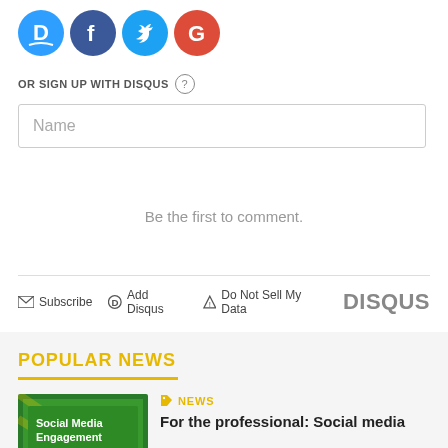[Figure (logo): Social login icons: Disqus (blue D), Facebook (dark blue f), Twitter (light blue bird), Google (red G)]
OR SIGN UP WITH DISQUS ?
Name
Be the first to comment.
Subscribe  Add Disqus  Do Not Sell My Data  DISQUS
POPULAR NEWS
NEWS
For the professional: Social media